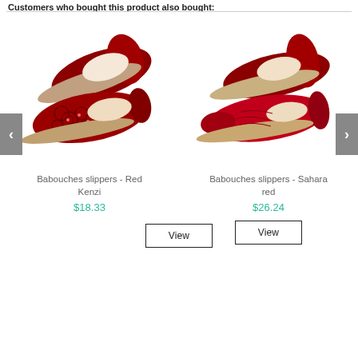Customers who bought this product also bought:
[Figure (photo): Red embossed leather babouche slippers (Red Kenzi) shown from above, two shoes overlapping]
Babouches slippers - Red Kenzi
$18.33
View
[Figure (photo): Red plain leather babouche slippers (Sahara red) shown from side angle, two shoes overlapping]
Babouches slippers - Sahara red
$26.24
View